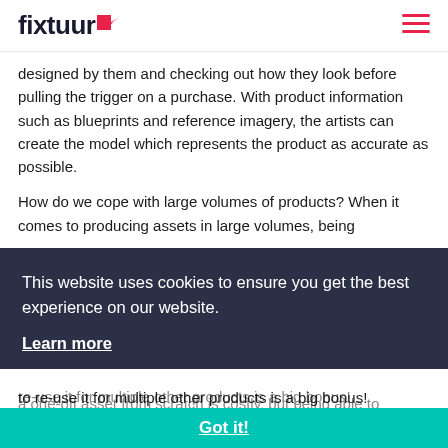fixtuur
designed by them and checking out how they look before pulling the trigger on a purchase. With product information such as blueprints and reference imagery, the artists can create the model which represents the product as accurate as possible.
How do we cope with large volumes of products? When it comes to producing assets in large volumes, being
This website uses cookies to ensure you get the best experience on our website.
Learn more
to re-use it for multiple other products is a big bonus!
Got it!